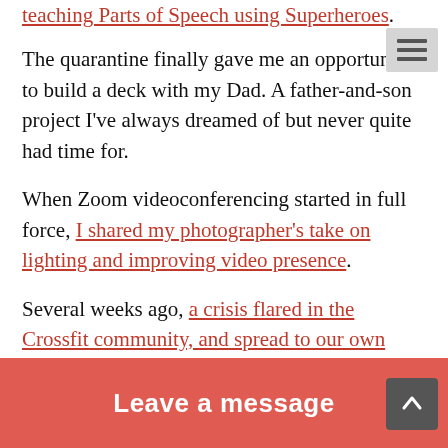teaching Parts of Speech using Superheroes.
The quarantine finally gave me an opportunity to build a deck with my Dad. A father-and-son project I've always dreamed of but never quite had time for.
When Zoom videoconferencing started in full force, I shared my photographer's take on lighting and improving video presence.
Several weeks ago, a crisis flared in the Crossfit community, and spread to our own local box. As a nine-year member and devout fitness Kool-Aid drinker, I got involved with a group of like-minded crossfitters to see how we can bring about positive change and evolution in the sport we all love.
Photography-wise, I've worked on my craft by tinkering in the studio. Just before the quarantine began, I had an opportunity to create icon[...] owners. I've also broadened[...] outside my